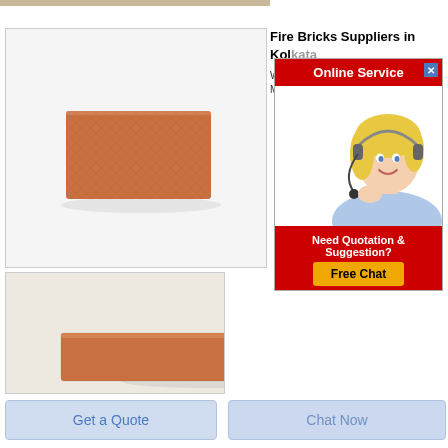[Figure (photo): A single red-brown fire brick on a white/light gray background, rectangular box shape, product listing image]
Fire Bricks Suppliers in Kolkata
Well... Manu...
[Figure (photo): Online Service popup with red header, close button, smiling blonde woman with headset, 'Need Quotation & Suggestion? Free Chat' call-to-action at bottom]
[Figure (photo): A second red-brown fire brick (longer, lower profile) on a tan/beige background, partial view]
Get a Quote
Chat Now